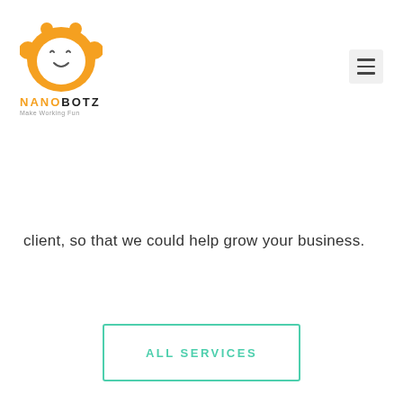[Figure (logo): NanoBotz logo: orange monkey face icon above orange 'NANO' and black 'BOTZ' text with tagline 'Make Working Fun']
[Figure (other): Hamburger menu icon (three horizontal lines) inside a light gray square button in top right corner]
client, so that we could help grow your business.
ALL SERVICES
[Figure (other): Row of small gray dots across the page width, with a white rounded card below partially visible at bottom of page, with small gray dots along the left edge]